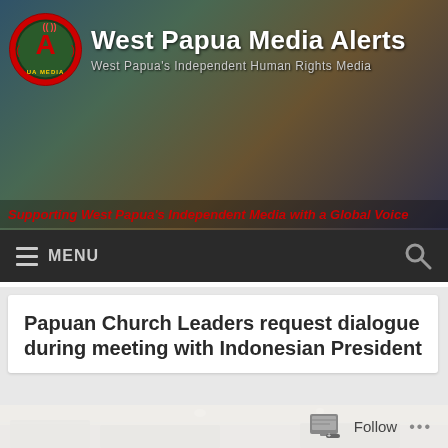[Figure (screenshot): West Papua Media Alerts website header with logo, site title, subtitle, and protest crowd background photo]
West Papua Media Alerts
West Papua's Independent Human Rights Media
Supporting West Papua's Independent Media with a Global Voice
≡ MENU
Papuan Church Leaders request dialogue during meeting with Indonesian President
[Figure (photo): Interior room photo, appears to be a formal meeting room or office with wooden furniture and ceiling lights]
Follow